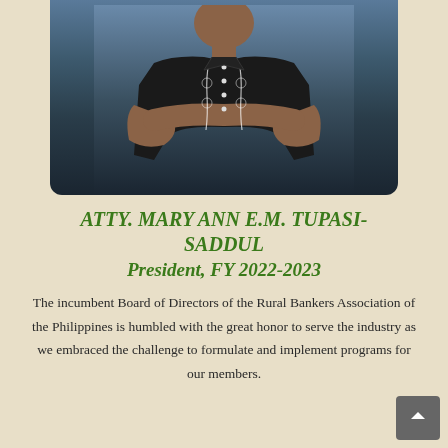[Figure (photo): Portrait photo of Atty. Mary Ann E.M. Tupasi-Saddul wearing a black barong with white floral embroidery, arms crossed, against a dark grey/blue background.]
ATTY. MARY ANN E.M. TUPASI-SADDUL
President, FY 2022-2023
The incumbent Board of Directors of the Rural Bankers Association of the Philippines is humbled with the great honor to serve the industry as we embraced the challenge to formulate and implement programs for our members.